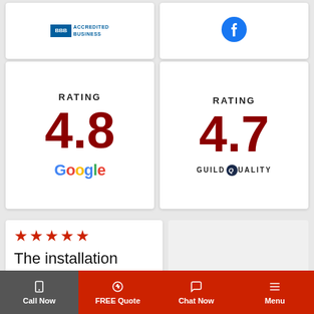[Figure (logo): BBB Accredited Business badge]
[Figure (logo): Facebook logo icon]
[Figure (infographic): Rating 4.8 Google]
[Figure (infographic): Rating 4.7 GuildQuality]
[Figure (infographic): Five red stars rating and review text: The installation team was a]
Call Now | FREE Quote | Chat Now | Menu